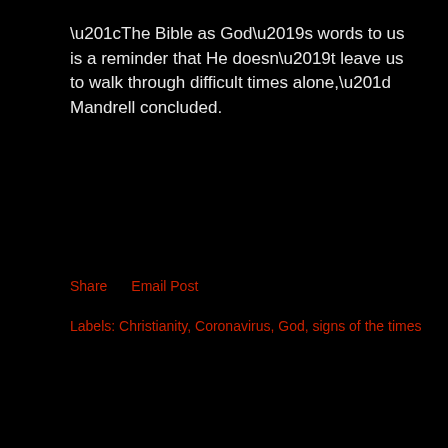“The Bible as God’s words to us is a reminder that He doesn’t leave us to walk through difficult times alone,” Mandrell concluded.
Share     Email Post
Labels: Christianity, Coronavirus, God, signs of the times